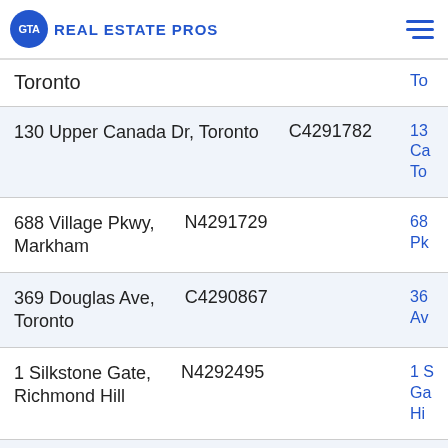GTA REAL ESTATE PROS
Toronto | To
130 Upper Canada Dr, Toronto | C4291782 | 13 Ca To
688 Village Pkwy, Markham | N4291729 | 68 Pk
369 Douglas Ave, Toronto | C4290867 | 36 Av
1 Silkstone Gate, Richmond Hill | N4292495 | 1 S Ga Hi
64 Alvin Ave | C4292085